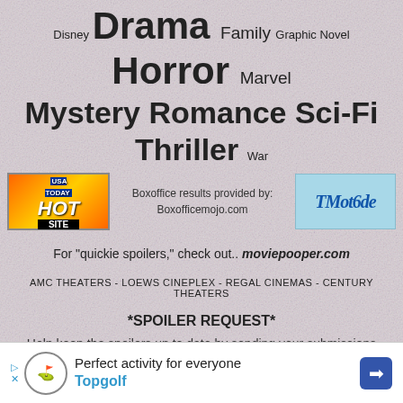Disney Drama Family Graphic Novel Horror Marvel Mystery Romance Sci-Fi Thriller War
[Figure (logo): USA Today Hot Site logo - orange/yellow gradient with red and black text]
Boxoffice results provided by: Boxofficemojo.com
[Figure (logo): TMetede / TMot6de logo on light blue background]
For "quickie spoilers," check out.. moviepooper.com
AMC THEATERS - LOEWS CINEPLEX - REGAL CINEMAS - CENTURY THEATERS
*SPOILER REQUEST*
Help keep the spoilers up to date by sending your submissions here.
PRIVACY POLICY
75360150
[Figure (infographic): Topgolf advertisement banner - Perfect activity for everyone]